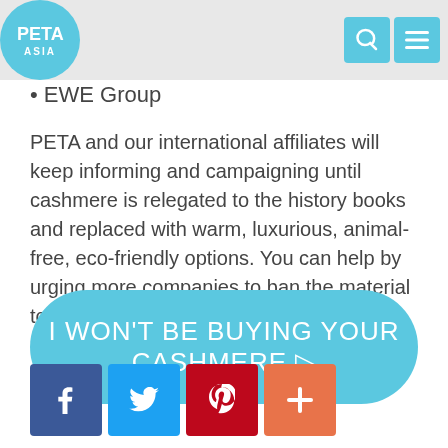PETA ASIA navigation header
EWE Group
PETA and our international affiliates will keep informing and campaigning until cashmere is relegated to the history books and replaced with warm, luxurious, animal-free, eco-friendly options. You can help by urging more companies to ban the material today.
[Figure (other): Large rounded rectangular call-to-action button in sky blue reading 'I WON'T BE BUYING YOUR CASHMERE ▷']
[Figure (other): Row of four social media share buttons: Facebook (blue), Twitter (light blue), Pinterest (red), More/Add (orange)]